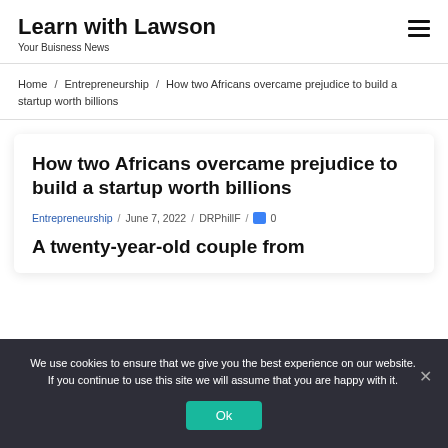Learn with Lawson
Your Buisness News
Home / Entrepreneurship / How two Africans overcame prejudice to build a startup worth billions
How two Africans overcame prejudice to build a startup worth billions
Entrepreneurship / June 7, 2022 / DRPhillF / 0
A twenty-year-old couple from
We use cookies to ensure that we give you the best experience on our website. If you continue to use this site we will assume that you are happy with it.
Ok